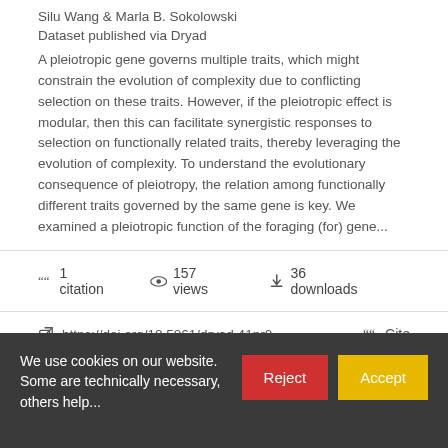Silu Wang & Marla B. Sokolowski
Dataset published via Dryad
A pleiotropic gene governs multiple traits, which might constrain the evolution of complexity due to conflicting selection on these traits. However, if the pleiotropic effect is modular, then this can facilitate synergistic responses to selection on functionally related traits, thereby leveraging the evolution of complexity. To understand the evolutionary consequence of pleiotropy, the relation among functionally different traits governed by the same gene is key. We examined a pleiotropic function of the foraging (for) gene...
1 citation   157 views   36 downloads
https://doi.org/10.5061/dryad.41pr0   Cite
We use cookies on our website. Some are technically necessary, others help...